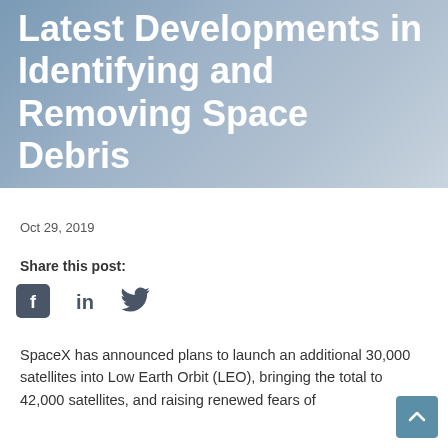Latest Developments in Identifying and Removing Space Debris
Oct 29, 2019
Share this post:
[Figure (infographic): Social media share icons: Facebook, LinkedIn, Twitter]
SpaceX has announced plans to launch an additional 30,000 satellites into Low Earth Orbit (LEO), bringing the total to 42,000 satellites, and raising renewed fears of